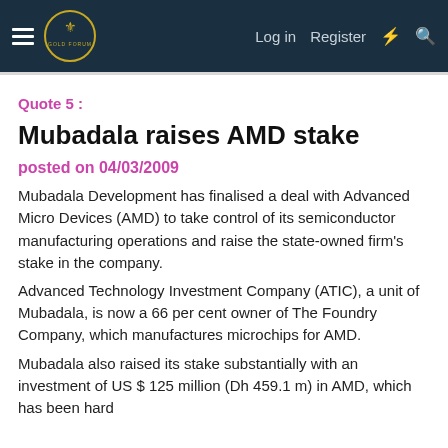Log in  Register
Quote 5 :
Mubadala raises AMD stake
posted on 04/03/2009
Mubadala Development has finalised a deal with Advanced Micro Devices (AMD) to take control of its semiconductor manufacturing operations and raise the state-owned firm's stake in the company.
Advanced Technology Investment Company (ATIC), a unit of Mubadala, is now a 66 per cent owner of The Foundry Company, which manufactures microchips for AMD.
Mubadala also raised its stake substantially with an investment of US $ 125 million (Dh 459.1 m) in AMD, which has been hard